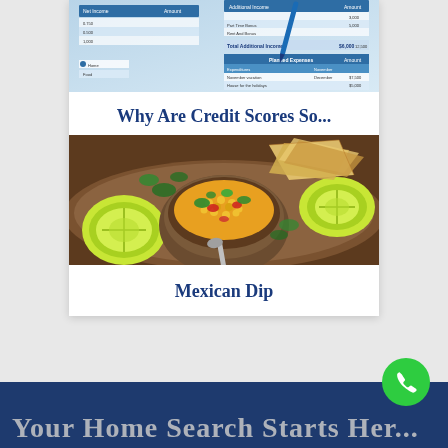[Figure (screenshot): Cropped screenshot of a financial planning spreadsheet with blue header rows, income/expense categories, and a blue pen visible]
Why Are Credit Scores So...
[Figure (photo): Photo of a bowl of Mexican corn dip/salsa with tortilla chips, lime halves, and cilantro on a wooden board]
Mexican Dip
[Figure (other): Green circular phone/call button icon]
Your Home Search Starts Her...